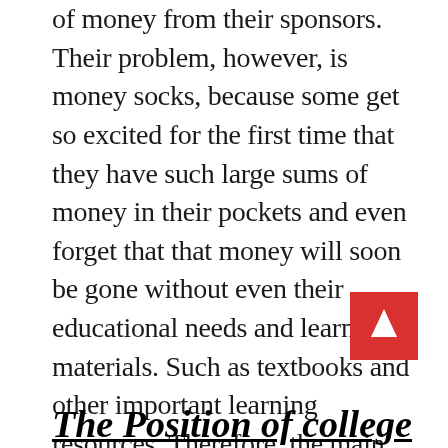of money from their sponsors. Their problem, however, is money socks, because some get so excited for the first time that they have such large sums of money in their pockets and even forget that that money will soon be gone without even their educational needs and learning materials. Such as textbooks and other important learning resources. Therefore, the main reason for the financial decline of freshmen at the University is poor financial management.
The Position of college